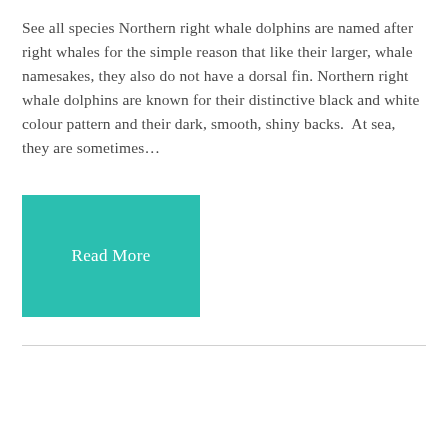See all species Northern right whale dolphins are named after right whales for the simple reason that like their larger, whale namesakes, they also do not have a dorsal fin. Northern right whale dolphins are known for their distinctive black and white colour pattern and their dark, smooth, shiny backs.  At sea, they are sometimes…
[Figure (other): Teal/turquoise rectangular button labeled 'Read More' in white text]